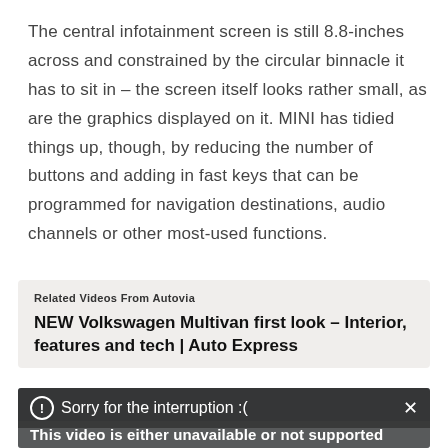The central infotainment screen is still 8.8-inches across and constrained by the circular binnacle it has to sit in – the screen itself looks rather small, as are the graphics displayed on it. MINI has tidied things up, though, by reducing the number of buttons and adding in fast keys that can be programmed for navigation destinations, audio channels or other most-used functions.
Related Videos From Autovia
NEW Volkswagen Multivan first look – Interior, features and tech | Auto Express
[Figure (screenshot): Video player overlay showing 'Sorry for the interruption :(' message with an exclamation icon and close X button, with partial text 'This video is either unavailable or not supported' below on a blurred grey background.]